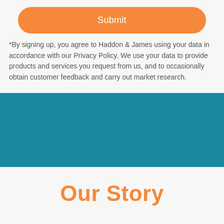[Figure (other): Orange rounded Submit button]
*By signing up, you agree to Haddon & James using your data in accordance with our Privacy Policy. We use your data to provide products and services you request from us, and to occasionally obtain customer feedback and carry out market research.
[Figure (other): Teal/blue horizontal band section]
Our Story